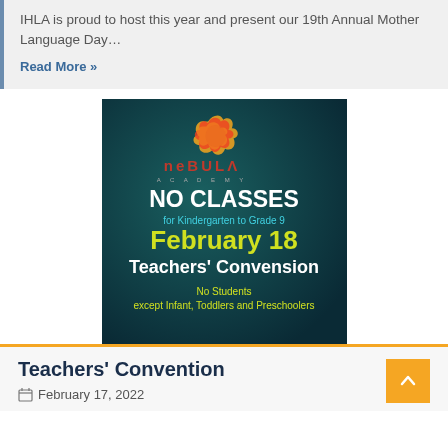IHLA is proud to host this year and present our 19th Annual Mother Language Day…
Read More »
[Figure (illustration): Nebula Academy announcement image with dark teal background showing: Nebula Academy logo (flame star shape in orange/red/yellow), text 'NO CLASSES for Kindergarten to Grade 9 February 18 Teachers' Convension No Students except Infant, Toddlers and Preschoolers']
Teachers' Convention
February 17, 2022